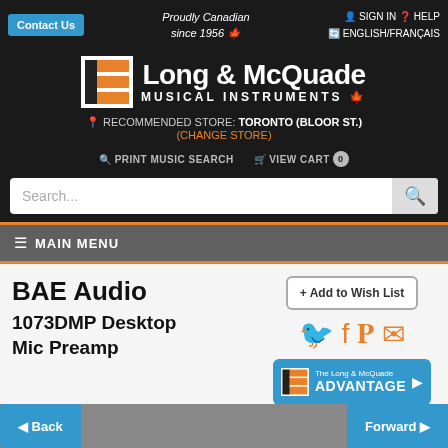Contact Us | Proudly Canadian since 1956 | SIGN IN | HELP | ENGLISH/FRANÇAIS
[Figure (logo): Long & McQuade Musical Instruments logo with orange and black grid icon]
RECOMMENDED STORE: TORONTO (BLOOR ST.) (CHANGE STORE)
PRINT MUSIC SEARCH | VIEW CART 0
Search...
≡ MAIN MENU
BAE Audio
1073DMP Desktop Mic Preamp
+ Add to Wish List
[Figure (logo): The Long & McQuade Advantage logo button]
Back | Forward